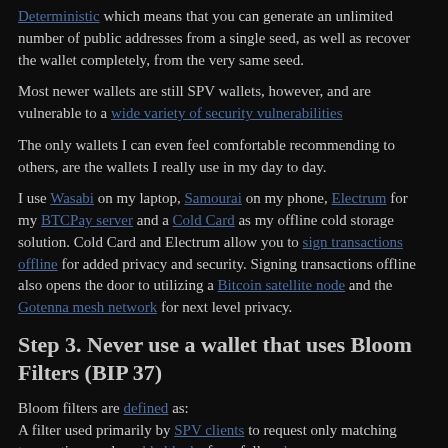Deterministic which means that you can generate an unlimited number of public addresses from a single seed, as well as recover the wallet completely, from the very same seed.
Most newer wallets are still SPV wallets, however, and are vulnerable to a wide variety of security vulnerabilities
The only wallets I can even feel comfortable recommending to others, are the wallets I really use in my day to day.
I use Wasabi on my laptop, Samourai on my phone, Electrum for my BTCPay server and a Cold Card as my offline cold storage solution. Cold Card and Electrum allow you to sign transactions offline for added privacy and security. Signing transactions offline also opens the door to utilizing a Bitcoin satellite node and the Gotenna mesh network for next level privacy.
Step 3. Never use a wallet that uses Bloom Filters (BIP 37)
Bloom filters are defined as: A filter used primarily by SPV clients to request only matching transactions and merkle blocks from full nodes